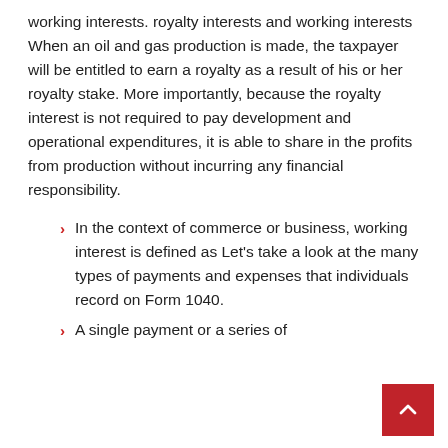working interests. royalty interests and working interests When an oil and gas production is made, the taxpayer will be entitled to earn a royalty as a result of his or her royalty stake. More importantly, because the royalty interest is not required to pay development and operational expenditures, it is able to share in the profits from production without incurring any financial responsibility.
In the context of commerce or business, working interest is defined as Let's take a look at the many types of payments and expenses that individuals record on Form 1040.
A single payment or a series of